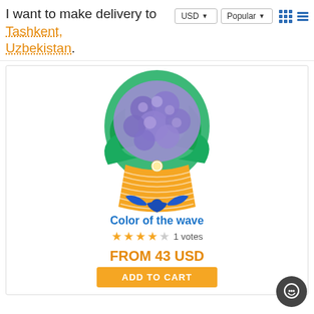I want to make delivery to Tashkent, Uzbekistan.
[Figure (photo): A bouquet of blue/purple hydrangea flowers wrapped in green tissue paper and orange chevron-patterned paper, tied with a blue satin ribbon bow, displayed on a white background.]
Color of the wave
★★★★☆ 1 votes
FROM 43 USD
ADD TO CART